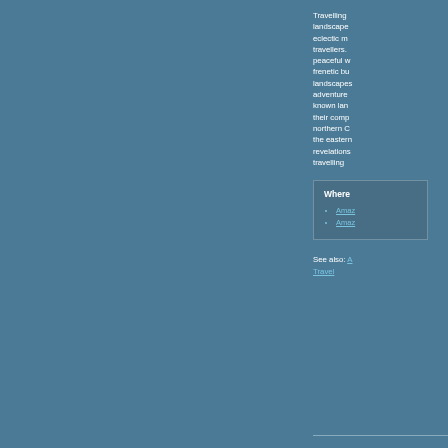Travelling landscape eclectic m travellers. peaceful w frenetic bu landscapes adventure known lan their comp northern C the eastern revelations travelling
Where
Amaz
Amaz
See also: A Travel